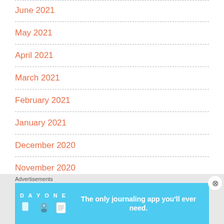June 2021
May 2021
April 2021
March 2021
February 2021
January 2021
December 2020
November 2020
Advertisements
[Figure (illustration): Day One journaling app advertisement banner: 'The only journaling app you'll ever need.']